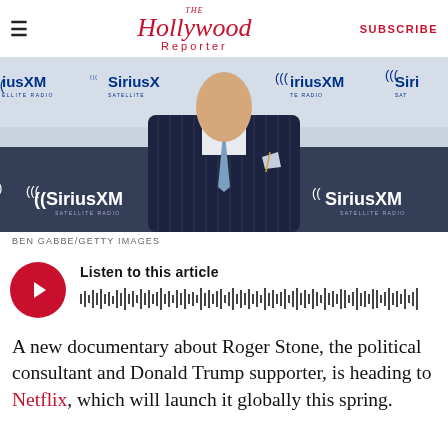THE Hollywood Reporter — SUBSCRIBE
[Figure (photo): Man in dark pinstripe suit with blue tie at SiriusXM Satellite Radio event backdrop]
BEN GABBE/GETTY IMAGES
[Figure (other): Audio player with red play button and waveform. Text: Listen to this article]
A new documentary about Roger Stone, the political consultant and Donald Trump supporter, is heading to Netflix, which will launch it globally this spring.